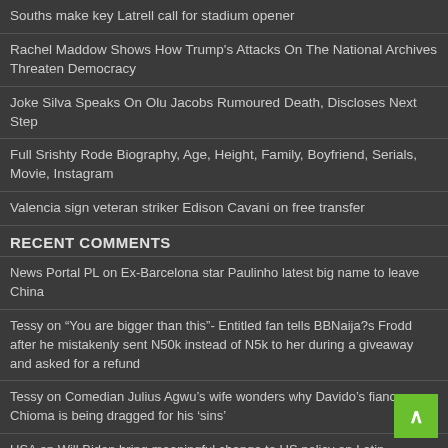Souths make key Latrell call for stadium opener
Rachel Maddow Shows How Trump’s Attacks On The National Archives Threaten Democracy
Joke Silva Speaks On Olu Jacobs Rumoured Death, Discloses Next Step
Full Srishty Rode Biography, Age, Height, Family, Boyfriend, Serials, Movie, Instagram
Valencia sign veteran striker Edison Cavani on free transfer
RECENT COMMENTS
News Portal PL on Ex-Barcelona star Paulinho latest big name to leave China
Tessy on “You are bigger than this”- Entitled fan tells BBNaija?s Frodd after he mistakenly sent N50k instead of N5k to her during a giveaway and asked for a refund
Tessy on Comedian Julius Agwu’s wife wonders why Davido’s fiancee Chioma is being dragged for his ‘sins’
USA on Will Biden bring meaningful change to US policy on Latin America?